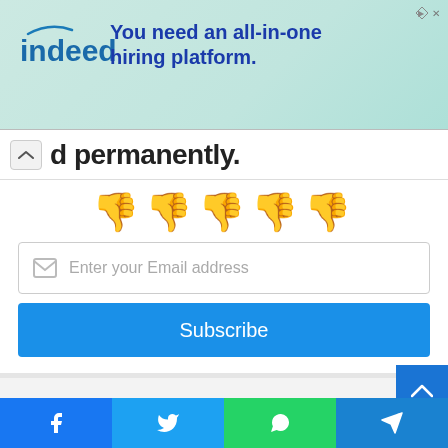[Figure (screenshot): Indeed advertisement banner with logo and tagline 'You need an all-in-one hiring platform.' on a light teal/green background]
d permanently.
[Figure (illustration): Five yellow thumbs-down emoji icons in a row]
[Figure (screenshot): Email subscription form with 'Enter your Email address' input field and blue 'Subscribe' button]
[Figure (screenshot): Social media share bar with Facebook, Twitter, WhatsApp, and Telegram buttons at the bottom]